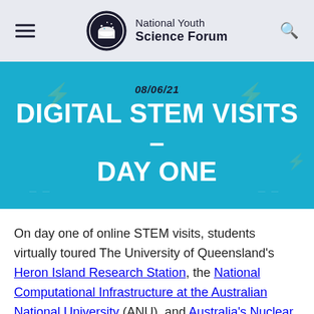National Youth Science Forum
08/06/21
DIGITAL STEM VISITS – DAY ONE
On day one of online STEM visits, students virtually toured The University of Queensland's Heron Island Research Station, the National Computational Infrastructure at the Australian National University (ANU), and Australia's Nuclear Science and Technology Organisation